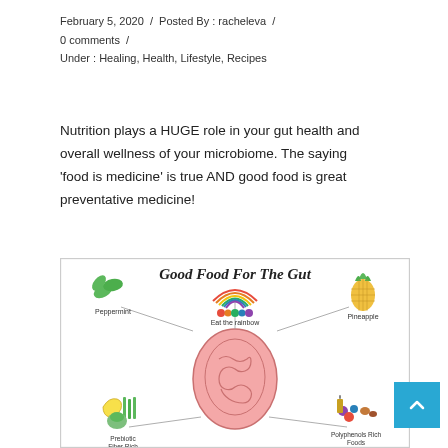February 5, 2020  /  Posted By : racheleva  /  0 comments  /  Under : Healing, Health, Lifestyle, Recipes
Nutrition plays a HUGE role in your gut health and overall wellness of your microbiome. The saying 'food is medicine' is true AND good food is great preventative medicine!
[Figure (infographic): Infographic titled 'Good Food For The Gut' showing a central illustration of intestines surrounded by food items with lines pointing to them: Peppermint (top left), Eat the rainbow (top center with rainbow and colorful fruits/vegetables), Pineapple (top right), Prebiotic Fiber Rich Foods (bottom left, showing banana, asparagus, artichoke), Polyphenols Rich Foods (bottom right, showing berries, nuts, oil, greens). Additional items are partially visible at the bottom.]